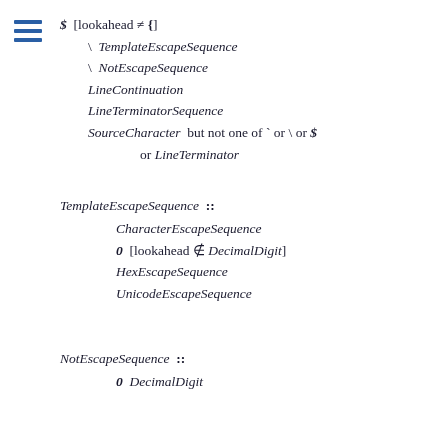$ [lookahead ≠ {]
\ TemplateEscapeSequence
\ NotEscapeSequence
LineContinuation
LineTerminatorSequence
SourceCharacter but not one of ` or \ or $ or LineTerminator
TemplateEscapeSequence ::
CharacterEscapeSequence
0 [lookahead ∉ DecimalDigit]
HexEscapeSequence
UnicodeEscapeSequence
NotEscapeSequence ::
0 DecimalDigit